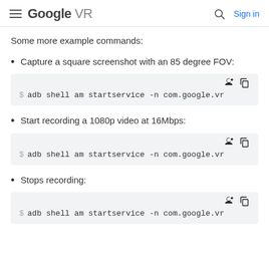Google VR
Some more example commands:
Capture a square screenshot with an 85 degree FOV:
[Figure (screenshot): Code block showing: $ adb shell am startservice -n com.google.vr]
Start recording a 1080p video at 16Mbps:
[Figure (screenshot): Code block showing: $ adb shell am startservice -n com.google.vr]
Stops recording:
[Figure (screenshot): Code block showing: $ adb shell am startservice -n com.google.vr]